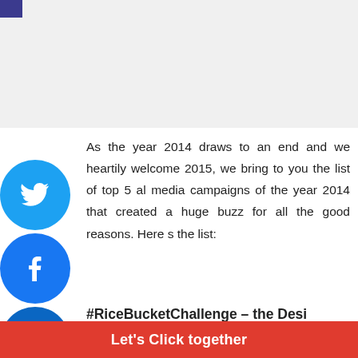[Figure (photo): Placeholder image area at the top of the page, light gray background]
As the year 2014 draws to an end and we heartily welcome 2015, we bring to you the list of top 5 al media campaigns of the year 2014 that created a huge buzz for all the good reasons. Here s the list:
#RiceBucketChallenge – the Desi Tadka to the #IceBucketChallenge
When the #IceBucketChallenge was trending across the world, a journalist from Hyderabad, Manju Latha did a different idea...
Let's Click together